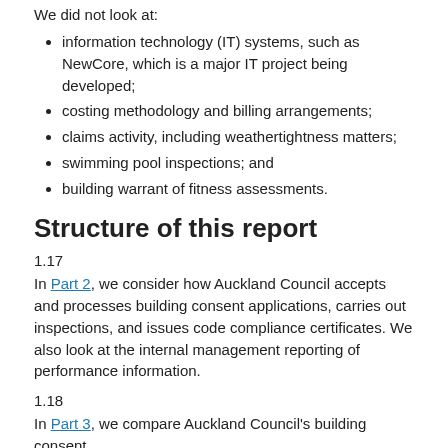We did not look at:
information technology (IT) systems, such as NewCore, which is a major IT project being developed;
costing methodology and billing arrangements;
claims activity, including weathertightness matters;
swimming pool inspections; and
building warrant of fitness assessments.
Structure of this report
1.17
In Part 2, we consider how Auckland Council accepts and processes building consent applications, carries out inspections, and issues code compliance certificates. We also look at the internal management reporting of performance information.
1.18
In Part 3, we compare Auckland Council's building consent...